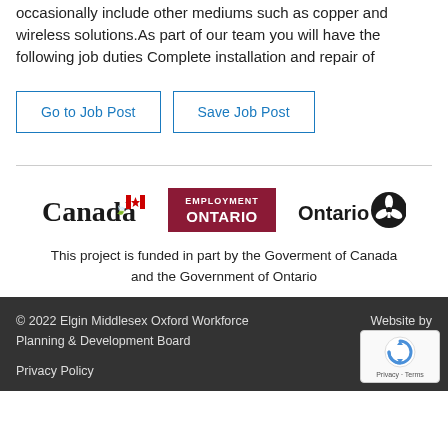occasionally include other mediums such as copper and wireless solutions.As part of our team you will have the following job duties Complete installation and repair of
Go to Job Post
Save Job Post
[Figure (logo): Canada, Employment Ontario, and Ontario government logos]
This project is funded in part by the Goverment of Canada and the Government of Ontario
© 2022 Elgin Middlesex Oxford Workforce Planning & Development Board
Privacy Policy
Website by Bailey